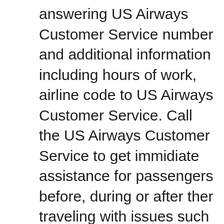answering US Airways Customer Service number and additional information including hours of work, airline code to US Airways Customer Service. Call the US Airways Customer Service to get immidiate assistance for passengers before, during or after ther traveling with issues such as: delays, changes, cancellation, special meal requests, seating and more..